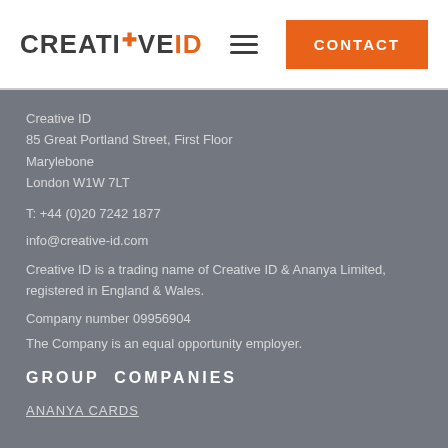[Figure (logo): Creative ID logo with orange cross and two-tone text]
Contact
Creative ID
85 Great Portland Street, First Floor
Marylebone
London W1W 7LT
T: +44 (0)20 7242 1877
info@creative-id.com
Creative ID is a trading name of Creative ID & Ananya Limited, registered in England & Wales.
Company number 09956904
The Company is an equal opportunity employer.
GROUP COMPANIES
ANANYA CARDS